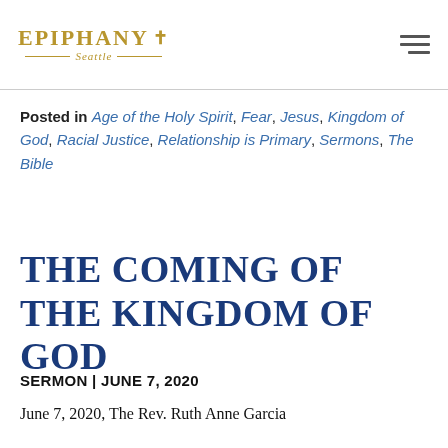Epiphany Seattle
Posted in Age of the Holy Spirit, Fear, Jesus, Kingdom of God, Racial Justice, Relationship is Primary, Sermons, The Bible
THE COMING OF THE KINGDOM OF GOD
SERMON | JUNE 7, 2020
June 7, 2020, The Rev. Ruth Anne Garcia